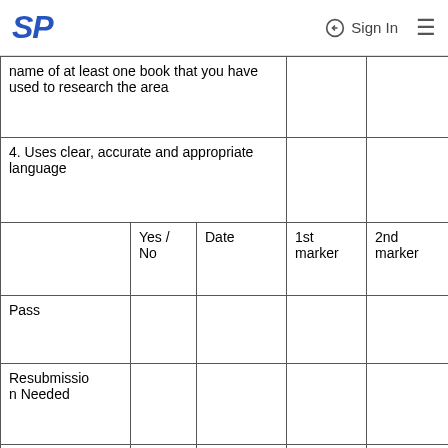SP | Sign In
|  | Yes / No | Date | 1st marker | 2nd marker |
| --- | --- | --- | --- | --- |
| name of at least one book that you have used to research the area |  |  |  |  |
| 4. Uses clear, accurate and appropriate language |  |  |  |  |
|  | Yes / No | Date | 1st marker | 2nd marker |
| Pass |  |  |  |  |
| Resubmission Needed |  |  |  |  |
| Pass On Resubmission |  |  |  |  |
| Fail On Resubmio |  |  |  |  |